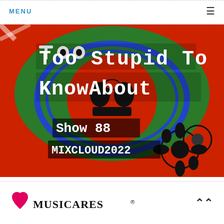MENU
[Figure (illustration): Too Stupid To Know About Show 88 MIXCLOUD2022 — colorful punk/collage artwork with red, green, black, white lettering on mixed background]
[Figure (logo): MusiCares logo — pink heart and MUSICARES wordmark with registered trademark symbol]